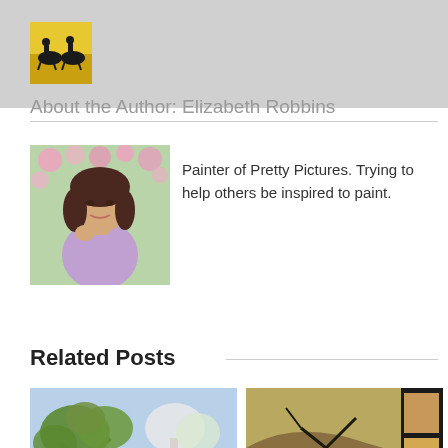[Figure (logo): Logo image: silhouette of two horse riders on yellow/orange background]
About the Author: Elizabeth Robbins
[Figure (photo): Photo of Elizabeth Robbins, a woman with dark hair wearing a lavender top, outdoors among pink flowers]
Painter of Pretty Pictures. Trying to help others be inspired to paint.
Related Posts
[Figure (photo): Thumbnail image for 'Concept Lesson: Painting California Oaks' showing trees in a landscape]
ncept Lesson: Painting California Oak
[Figure (photo): Thumbnail image for 'Painting Hillside Oaks' showing a hillside landscape painting]
Painting Hillside Oaks